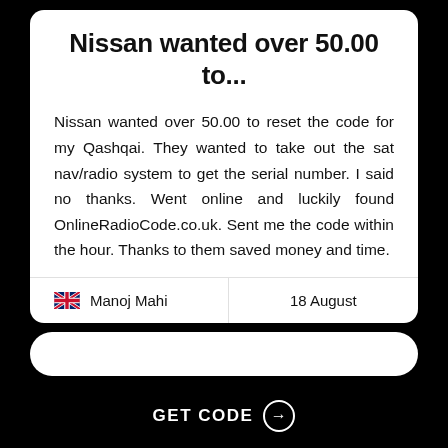Nissan wanted over 50.00 to...
Nissan wanted over 50.00 to reset the code for my Qashqai. They wanted to take out the sat nav/radio system to get the serial number. I said no thanks. Went online and luckily found OnlineRadioCode.co.uk. Sent me the code within the hour. Thanks to them saved money and time.
Manoj Mahi   18 August